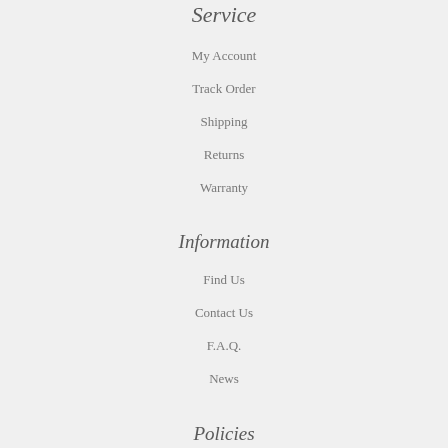Service
My Account
Track Order
Shipping
Returns
Warranty
Information
Find Us
Contact Us
F.A.Q.
News
Policies